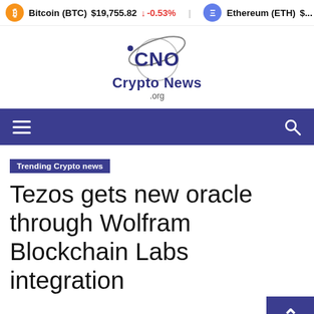Bitcoin (BTC) $19,755.82 ↓ -0.53%   Ethereum (ETH) $...
[Figure (logo): CNO Crypto News org logo — stylized globe orbit around letters CNO above bold text 'Crypto News' and smaller '.org']
Trending Crypto news
Tezos gets new oracle through Wolfram Blockchain Labs integration